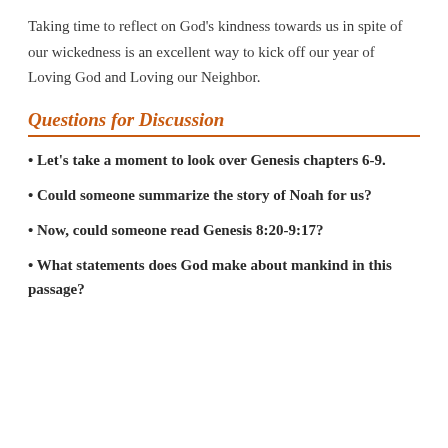Taking time to reflect on God’s kindness towards us in spite of our wickedness is an excellent way to kick off our year of Loving God and Loving our Neighbor.
Questions for Discussion
• Let’s take a moment to look over Genesis chapters 6-9.
• Could someone summarize the story of Noah for us?
• Now, could someone read Genesis 8:20-9:17?
• What statements does God make about mankind in this passage?